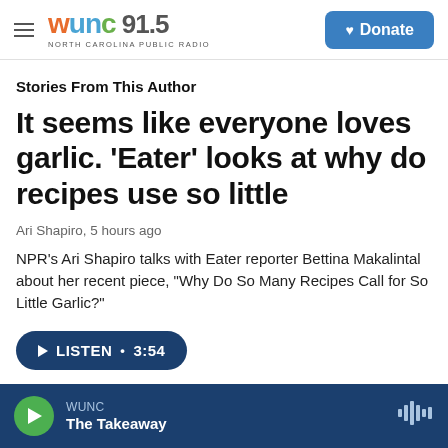WUNC 91.5 NORTH CAROLINA PUBLIC RADIO | Donate
Stories From This Author
It seems like everyone loves garlic. 'Eater' looks at why do recipes use so little
Ari Shapiro,  5 hours ago
NPR's Ari Shapiro talks with Eater reporter Bettina Makalintal about her recent piece, "Why Do So Many Recipes Call for So Little Garlic?"
LISTEN • 3:54
WUNC The Takeaway